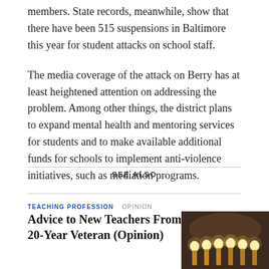members. State records, meanwhile, show that there have been 515 suspensions in Baltimore this year for student attacks on school staff.
The media coverage of the attack on Berry has at least heightened attention on addressing the problem. Among other things, the district plans to expand mental health and mentoring services for students and to make available additional funds for schools to implement anti-violence initiatives, such as mediation programs.
SEE ALSO
TEACHING PROFESSION   OPINION
Advice to New Teachers From a 20-Year Veteran (Opinion)